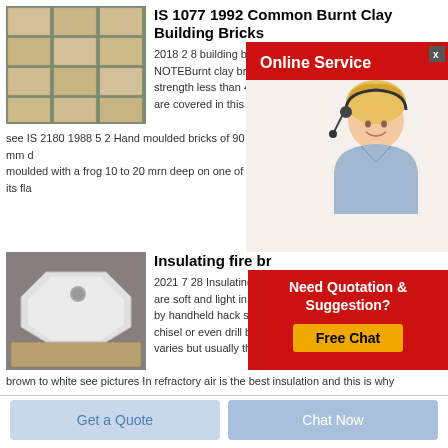[Figure (photo): Stack of pale cream/tan large rectangular clay building bricks arranged in rows]
IS 1077 1992 Common Burnt Clay Building Bricks
2018 2 8 building bricks used in buildings NOTEBurnt clay bricks strength less than 40 N are covered in this stan
[Figure (infographic): Online Service popup with red banner and female customer service agent wearing headset]
see IS 2180 1988 5 2 Hand moulded bricks of 90 mm d moulded with a frog 10 to 20 mrn deep on one of its fla
[Figure (photo): White geometric octagonal/angular shaped insulating fire bricks on wooden pallets]
Insulating fire br
2021 7 28 Insulating fire are soft and light in wei by handheld hack saw chisel or even drill bit Color of insulating bricks varies but usually they come in shades from light
[Figure (infographic): Need Quotation & Suggestion? Free Chat popup with red background and gold button]
brown to white see pictures In refractory air is the best insulation and this is why
Get a Quote
Chat Now